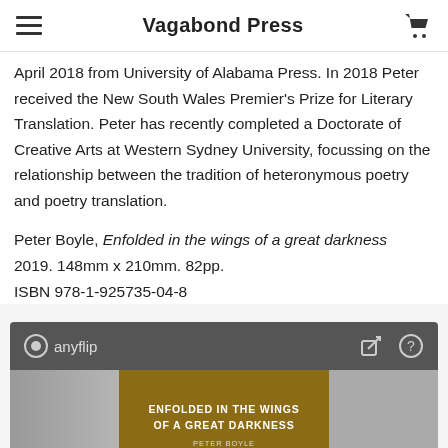Vagabond Press
April 2018 from University of Alabama Press. In 2018 Peter received the New South Wales Premier's Prize for Literary Translation. Peter has recently completed a Doctorate of Creative Arts at Western Sydney University, focussing on the relationship between the tradition of heteronymous poetry and poetry translation.
Peter Boyle, Enfolded in the wings of a great darkness 2019. 148mm x 210mm. 82pp.
ISBN 978-1-925735-04-8
[Figure (screenshot): Anyflip embedded book viewer showing the cover of 'Enfolded in the Wings of a Great Darkness' by Peter Boyle]